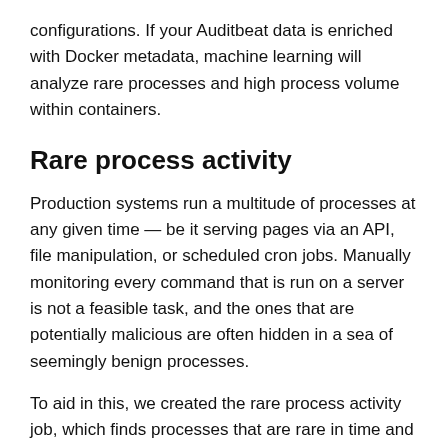configurations. If your Auditbeat data is enriched with Docker metadata, machine learning will analyze rare processes and high process volume within containers.
Rare process activity
Production systems run a multitude of processes at any given time — be it serving pages via an API, file manipulation, or scheduled cron jobs. Manually monitoring every command that is run on a server is not a feasible task, and the ones that are potentially malicious are often hidden in a sea of seemingly benign processes.
To aid in this, we created the rare process activity job, which finds processes that are rare in time and scoped to each individual host. That is, we look at the relative